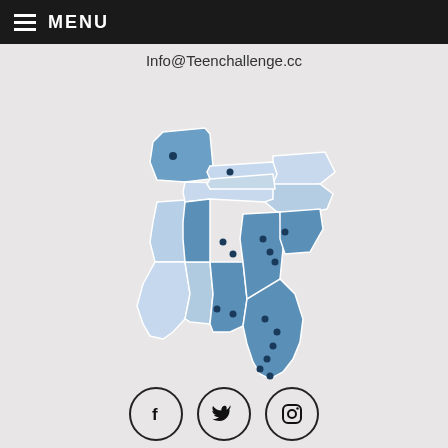MENU
Info@Teenchallenge.cc
[Figure (map): Map of southeastern United States showing states highlighted in varying shades of blue with dark blue dot markers indicating Teen Challenge locations. States visible include Missouri, Kentucky, Tennessee, Virginia/North Carolina, South Carolina, Georgia, Alabama, Mississippi, Louisiana, Arkansas, and Florida. Some states are darker blue (more locations) and some lighter blue.]
[Figure (infographic): Three social media icon circles: Facebook (f), Twitter (bird), Instagram (camera)]